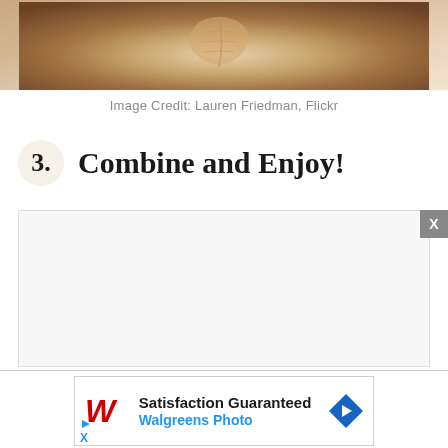[Figure (photo): Close-up photograph of a latte art in a coffee cup, showing a leaf/heart pattern in the foam, cropped at top of page]
Image Credit: Lauren Friedman, Flickr
3. Combine and Enjoy!
[Figure (other): Gray advertisement placeholder box with an X close button in the bottom-right corner]
[Figure (other): Walgreens Photo advertisement banner showing 'Satisfaction Guaranteed' with Walgreens logo and navigation diamond icon, with play and close controls below]